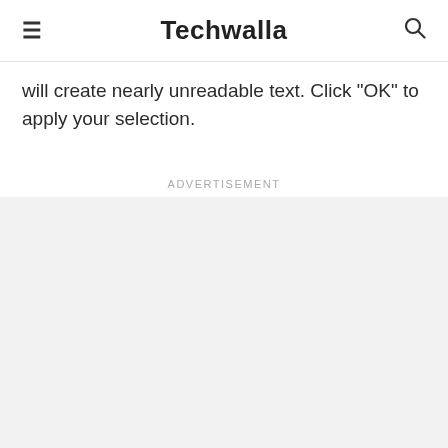≡  Techwalla  🔍
will create nearly unreadable text. Click "OK" to apply your selection.
Advertisement